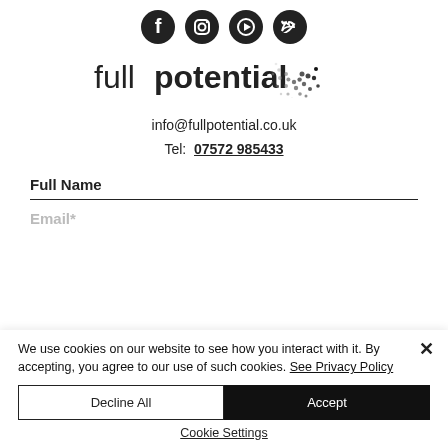[Figure (logo): Social media icons row: Facebook, Instagram, YouTube, Twitter - black circular icons]
[Figure (logo): Full Potential logo with dotted swirl graphic to the right of the text]
info@fullpotential.co.uk
Tel: 07572 985433
Full Name
Email*
We use cookies on our website to see how you interact with it. By accepting, you agree to our use of such cookies. See Privacy Policy
Decline All
Accept
Cookie Settings